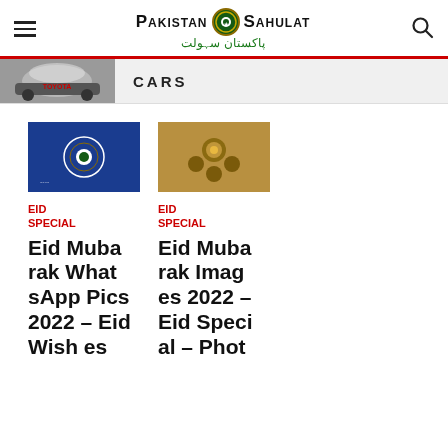Pakistan Sahulat | پاکستان سہولت
[Figure (screenshot): Cars banner with Toyota car image and CARS label]
[Figure (photo): Eid special thumbnail 1 - blue background with emblem]
[Figure (photo): Eid special thumbnail 2 - gold/bronze ornament]
EID SPECIAL
EID SPECIAL
Eid Mubarak WhatsApp Pics 2022 – Eid Wishes
Eid Mubarak Images 2022 – Eid Special – Phot